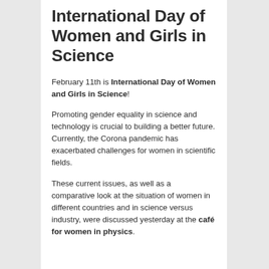International Day of Women and Girls in Science
February 11th is International Day of Women and Girls in Science!
Promoting gender equality in science and technology is crucial to building a better future. Currently, the Corona pandemic has exacerbated challenges for women in scientific fields.
These current issues, as well as a comparative look at the situation of women in different countries and in science versus industry, were discussed yesterday at the café for women in physics.